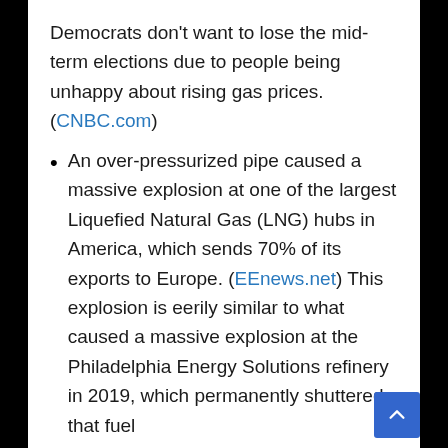Democrats don't want to lose the mid-term elections due to people being unhappy about rising gas prices. (CNBC.com)
An over-pressurized pipe caused a massive explosion at one of the largest Liquefied Natural Gas (LNG) hubs in America, which sends 70% of its exports to Europe. (EEnews.net) This explosion is eerily similar to what caused a massive explosion at the Philadelphia Energy Solutions refinery in 2019, which permanently shuttered that fuel